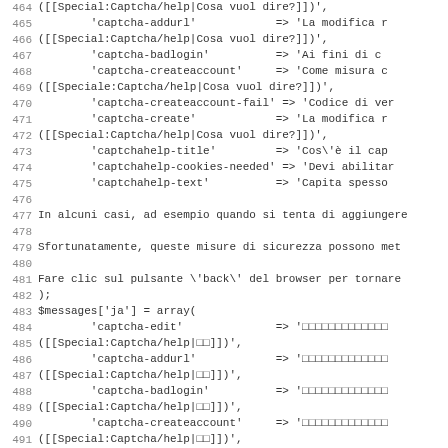Code listing lines 464-495 showing PHP array assignments for captcha messages in Italian and Japanese.